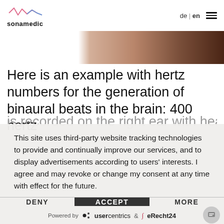[Figure (logo): Sonamedic logo with waveform icon and text 'sonamedic']
de | en
[Figure (photo): Partial photo of a person's head/hair, cropped at top]
Here is an example with hertz numbers for the generation of binaural beats in the brain: 400 hertz
is recorded on the right ear with headphones 410
This site uses third-party website tracking technologies to provide and continually improve our services, and to display advertisements according to users' interests. I agree and may revoke or change my consent at any time with effect for the future.
DENY
ACCEPT
MORE
Powered by  usercentrics  &  eRecht24